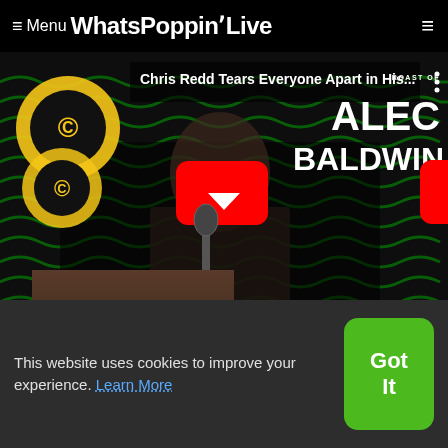≡ Menu WhatsPoppinLive
[Figure (screenshot): YouTube video thumbnail showing Chris Redd performing stand-up at the Roast of Alec Baldwin. Comedy Central logo on left, red YouTube play button in center, 'ROAST OF ALEC BALDWIN' text on right. Title text: 'Chris Redd Tears Everyone Apart in His...']
The Smell of Sex Kelsey Cook Stand-Up Comedy
This website uses cookies to improve your experience. Learn More
Got It